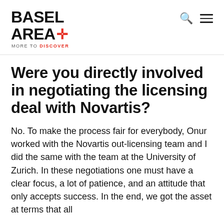BASEL AREA+ MORE TO DISCOVER
Were you directly involved in negotiating the licensing deal with Novartis?
No. To make the process fair for everybody, Onur worked with the Novartis out-licensing team and I did the same with the team at the University of Zurich. In these negotiations one must have a clear focus, a lot of patience, and an attitude that only accepts success. In the end, we got the asset at terms that all